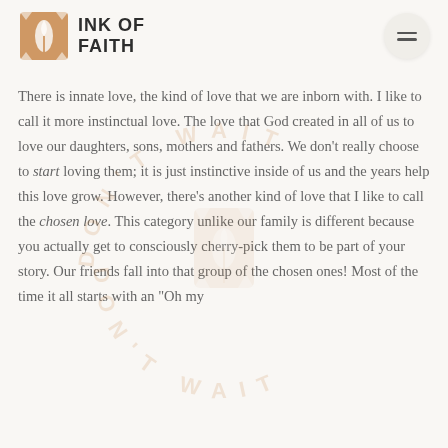[Figure (logo): Ink of Faith logo with quill icon and text]
There is innate love, the kind of love that we are inborn with. I like to call it more instinctual love. The love that God created in all of us to love our daughters, sons, mothers and fathers. We don't really choose to start loving them; it is just instinctive inside of us and the years help this love grow. However, there's another kind of love that I like to call the chosen love. This category unlike our family is different because you actually get to consciously cherry-pick them to be part of your story. Our friends fall into that group of the chosen ones! Most of the time it all starts with an "Oh my